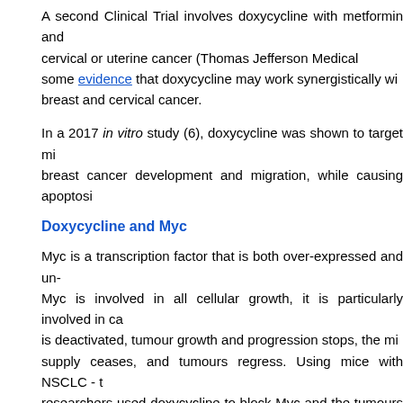A second Clinical Trial involves doxycycline with metformin and cervical or uterine cancer (Thomas Jefferson Medical some evidence that doxycycline may work synergistically with breast and cervical cancer.
In a 2017 in vitro study (6), doxycycline was shown to target mitochondria in breast cancer development and migration, while causing apoptosis.
Doxycycline and Myc
Myc is a transcription factor that is both over-expressed and un-regulated. While Myc is involved in all cellular growth, it is particularly involved in cancer. When Myc is deactivated, tumour growth and progression stops, the micro blood supply ceases, and tumours regress. Using mice with NSCLC - the researchers used doxycycline to block Myc and the tumours regressed.
There was comment about inhibiting Myc simultaneously in normal cells and researchers described as having 'profound effects'. The researchers said this was 'easily reversible' over time!
Doxycycline and metastasis